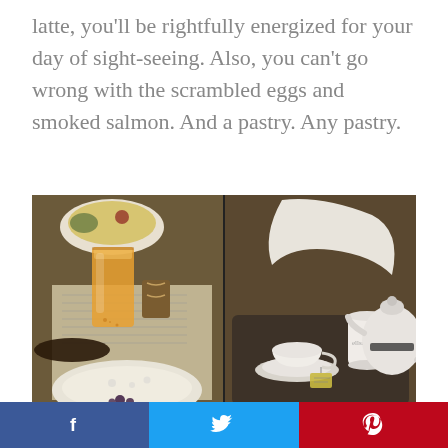latte, you'll be rightfully energized for your day of sight-seeing. Also, you can't go wrong with the scrambled eggs and smoked salmon. And a pastry. Any pastry.
[Figure (photo): Two side-by-side photos of a hotel breakfast: left shows a tall glass of orange juice, a bowl of porridge, and eggs on a plate; right shows a tea service with a teapot, cups, saucer, and a tea bag on a tray.]
f  [Twitter bird]  p